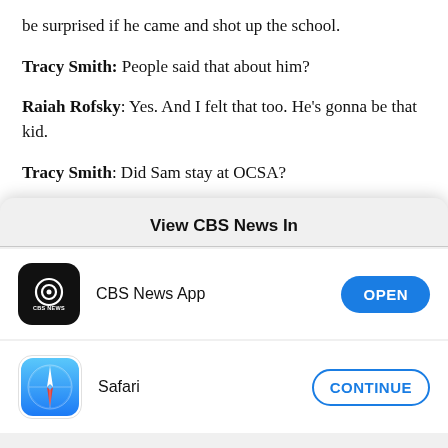be surprised if he came and shot up the school.
Tracy Smith: People said that about him?
Raiah Rofsky: Yes. And I felt that too. He's gonna be that kid.
Tracy Smith: Did Sam stay at OCSA?
Raiah Rofsky: He left after sophomore year of high
[Figure (screenshot): iOS app picker modal overlay titled 'View CBS News In' with two options: CBS News App with an OPEN button, and Safari with a CONTINUE button.]